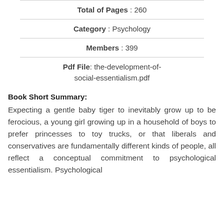Total of Pages : 260
Category : Psychology
Members : 399
Pdf File: the-development-of-social-essentialism.pdf
Book Short Summary:
Expecting a gentle baby tiger to inevitably grow up to be ferocious, a young girl growing up in a household of boys to prefer princesses to toy trucks, or that liberals and conservatives are fundamentally different kinds of people, all reflect a conceptual commitment to psychological essentialism. Psychological